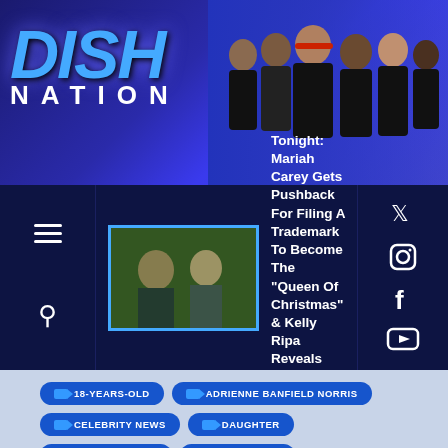[Figure (logo): Dish Nation logo with DISH in large blue italic text and NATION below in white letters]
[Figure (photo): Cast photo of Dish Nation hosts standing together in black outfits]
Tonight: Mariah Carey Gets Pushback For Filing A Trademark To Become The "Queen Of Christmas" & Kelly Ripa Reveals She's A Cheap Bride!
18-YEARS-OLD
ADRIENNE BANFIELD NORRIS
CELEBRITY NEWS
DAUGHTER
DEYJAH HARRIS
DISH NATION
ENTERTAINMENT NEWS
GYNECOLOGIST
HYMEN
HYMENGATE
JADA PINKETT SMITH
T.I.
THE KING
TINY HARRIS
TIP HARRIS
WILL SMITH
WILLOW SMITH
RELATED